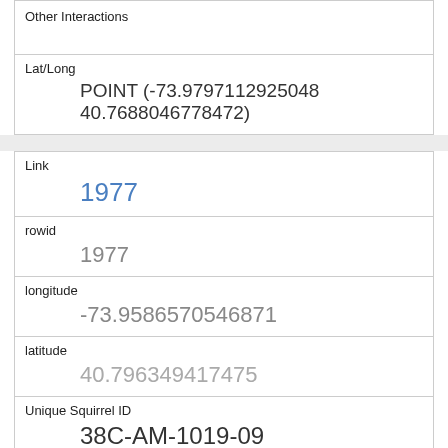| Other Interactions |  |
| Lat/Long | POINT (-73.9797112925048 40.7688046778472) |
| Link | 1977 |
| rowid | 1977 |
| longitude | -73.9586570546871 |
| latitude | 40.796349417475 |
| Unique Squirrel ID | 38C-AM-1019-09 |
| Hectare | 38C |
| Shift | AM |
| Date | 10192018 |